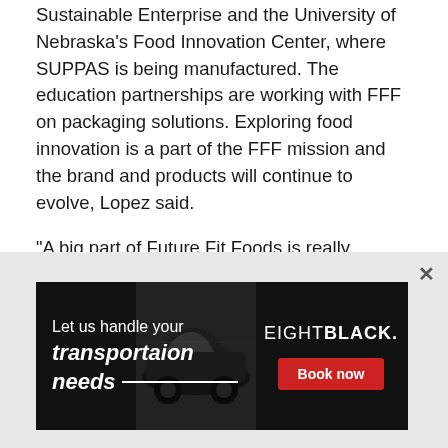Sustainable Enterprise and the University of Nebraska's Food Innovation Center, where SUPPAS is being manufactured. The education partnerships are working with FFF on packaging solutions. Exploring food innovation is a part of the FFF mission and the brand and products will continue to evolve, Lopez said.
“A big part of Future Fit Foods is really engaging the next generation of food professionals in the work that we’re doing, so they can also be part of co-creating with us what that next generation of foods looks like,” Lopez said.
FFF plans on staying in soups, for now, possibly branching into...
[Figure (other): Advertisement banner on black background with text 'Let us handle your transportaion needs' with a car image and EIGHTBLACK. brand logo with a red 'Book now' button. Close (x) button in top right.]